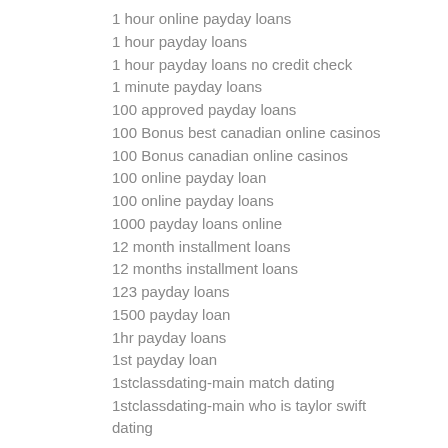1 hour online payday loans
1 hour payday loans
1 hour payday loans no credit check
1 minute payday loans
100 approved payday loans
100 Bonus best canadian online casinos
100 Bonus canadian online casinos
100 online payday loan
100 online payday loans
1000 payday loans online
12 month installment loans
12 months installment loans
123 payday loans
1500 payday loan
1hr payday loans
1st payday loan
1stclassdating-main match dating
1stclassdating-main who is taylor swift dating